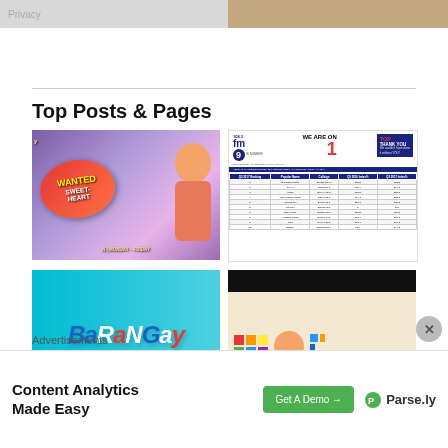[Figure (photo): Top strip: left side shows a gray image with 'Privacy' text, right side shows a brownish indoor photo]
Top Posts & Pages
[Figure (photo): Wanted Sweetheart promo image with a man in pink polo shirt, colorful heart logo with 'WANTED SWEETHEART' text, 'MONDAY - FRIDAY' banner]
[Figure (table-as-image): FM 104.3 radio station #1 ranking announcement with table showing Q3 2017 rankings of FM stations]
[Figure (photo): Barangay logo in blue with colorful stylized text on cyan gradient background]
[Figure (photo): Dark header with colorful block graphics and partial face below]
Advertisements
[Figure (screenshot): Advertisement banner: 'Content Analytics Made Easy' with 'Get A Demo' button and Parse.ly logo]